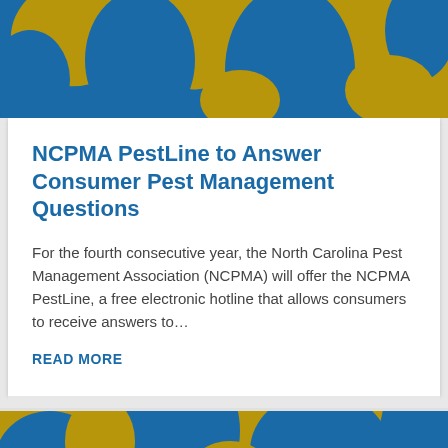[Figure (illustration): Blue and gold abstract decorative banner with organic blob shapes in contrasting colors]
NCPMA PestLine to Answer Consumer Pest Management Questions
For the fourth consecutive year, the North Carolina Pest Management Association (NCPMA) will offer the NCPMA PestLine, a free electronic hotline that allows consumers to receive answers to…
READ MORE
[Figure (illustration): Gold and blue abstract decorative banner bottom portion with organic blob shapes]